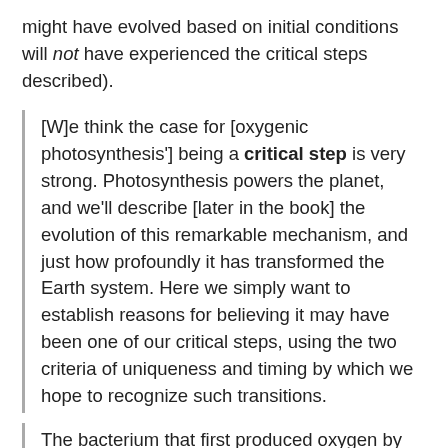might have evolved based on initial conditions will not have experienced the critical steps described).
[W]e think the case for [oxygenic photosynthesis'] being a critical step is very strong. Photosynthesis powers the planet, and we'll describe [later in the book] the evolution of this remarkable mechanism, and just how profoundly it has transformed the Earth system. Here we simply want to establish reasons for believing it may have been one of our critical steps, using the two criteria of uniqueness and timing by which we hope to recognize such transitions.
The bacterium that first produced oxygen by splitting water with sunlight coupled together to earlier-evolved photosynthetic pathways, called photosystems I and II. In addition it possessed a unique enzyme containing four manganese atoms,